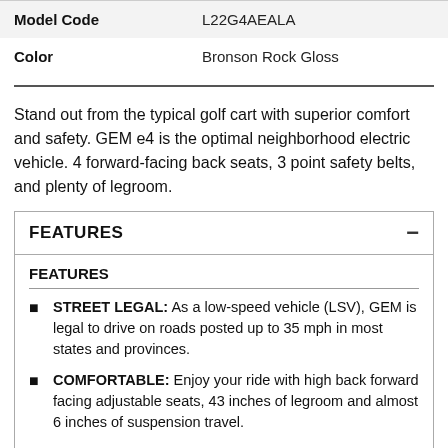|  |  |
| --- | --- |
| Model Code | L22G4AEALA |
| Color | Bronson Rock Gloss |
Stand out from the typical golf cart with superior comfort and safety. GEM e4 is the optimal neighborhood electric vehicle. 4 forward-facing back seats, 3 point safety belts, and plenty of legroom.
FEATURES
FEATURES
STREET LEGAL: As a low-speed vehicle (LSV), GEM is legal to drive on roads posted up to 35 mph in most states and provinces.
COMFORTABLE: Enjoy your ride with high back forward facing adjustable seats, 43 inches of legroom and almost 6 inches of suspension travel.